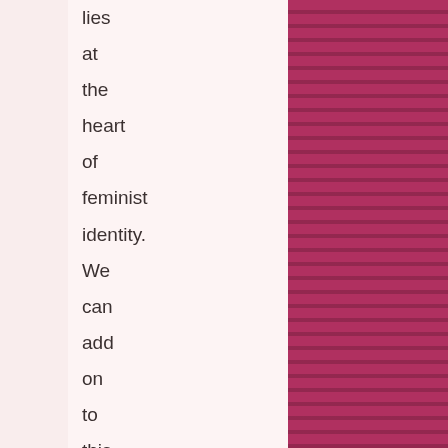lies at the heart of feminist identity. We can add on to this that a feminist viewpoint need not depend upon feminine socialization in order to enable the feminist voices of